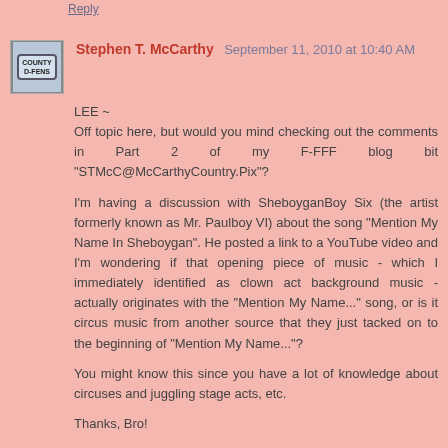Reply
Stephen T. McCarthy September 11, 2010 at 10:40 AM
LEE ~
Off topic here, but would you mind checking out the comments in Part 2 of my F-FFF blog bit "STMcC@McCarthyCountry.Pix"?

I'm having a discussion with SheboyganBoy Six (the artist formerly known as Mr. Paulboy VI) about the song "Mention My Name In Sheboygan". He posted a link to a YouTube video and I'm wondering if that opening piece of music - which I immediately identified as clown act background music - actually originates with the "Mention My Name..." song, or is it circus music from another source that they just tacked on to the beginning of "Mention My Name..."?

You might know this since you have a lot of knowledge about circuses and juggling stage acts, etc.

Thanks, Bro!